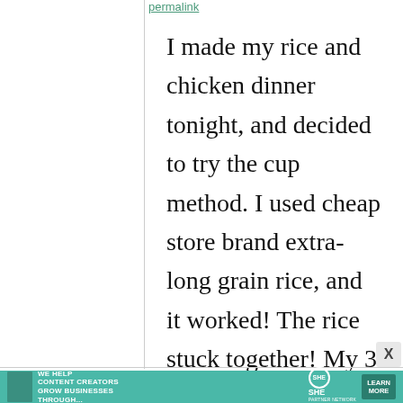permalink
I made my rice and chicken dinner tonight, and decided to try the cup method. I used cheap store brand extra-long grain rice, and it worked! The rice stuck together! My 3 year old was able to eat one without needing a spoon to do
[Figure (infographic): Advertisement banner for SHE Media Partner Network with teal background, photo of woman with laptop, text 'We help content creators grow businesses through...', SHE logo, and 'Learn More' button]